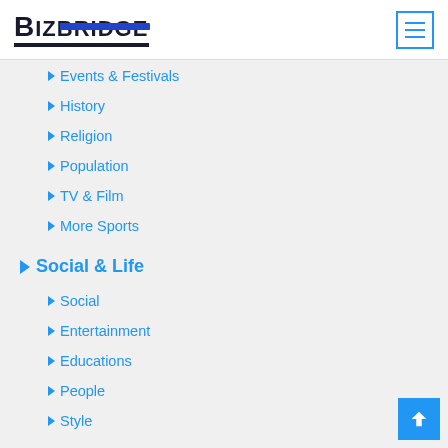BIZBRIDGE
Events & Festivals
History
Religion
Population
TV & Film
More Sports
Social & Life
Social
Entertainment
Educations
People
Style